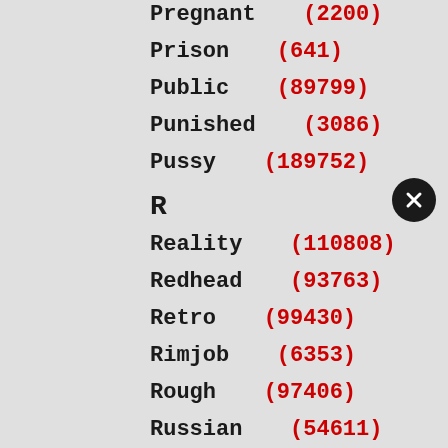Pregnant (2200)
Prison (641)
Public (89799)
Punished (3086)
Pussy (189752)
R
Reality (110808)
Redhead (93763)
Retro (99430)
Rimjob (6353)
Rough (97406)
Russian (54611)
S
School (4286)
Secretary (1641)